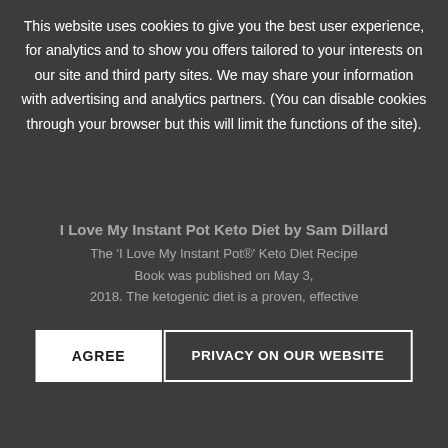[Figure (screenshot): Dark semi-transparent overlay with cookie consent notice on top of a webpage about 'I Love My Instant Pot Keto Diet by Sam Dillard' book.]
This website uses cookies to give you the best user experience, for analytics and to show you offers tailored to your interests on our site and third party sites. We may share your information with advertising and analytics partners. (You can disable cookies through your browser but this will limit the functions of the site).
AGREE | PRIVACY ON OUR WEBSITE
I Love My Instant Pot Keto Diet by Sam Dillard
The 'I Love My Instant Pot®' Keto Diet Recipe Book was published on May 3, 2018. The ketogenic diet is a proven, effective way to lose weight without sacrificing flavor. And with the Instant Pot®, it's easier than ever to create delicious, satisfying, nutritious dishes using fresh and simple ingredients! The "I Love My Instant Pot®" Keto Diet Recipe Book is a must have for Instant Pot® fans who follow the ketogenic diet and want fast, healthy, and delicious meals the whole family can enjoy. In this book, you'll find 175 fat-burning recipes,